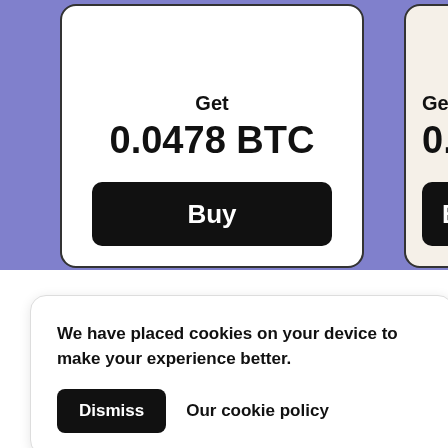[Figure (screenshot): A cryptocurrency purchase card showing 'Get 0.0478 BTC' with a black Buy button on a white card, set against a purple/lavender background. A second partially visible card on the right shows 'Get 0.239' and a partial Buy button on a cream background.]
We have placed cookies on your device to make your experience better.
Dismiss
Our cookie policy
with
Cad
The simplest way to buy